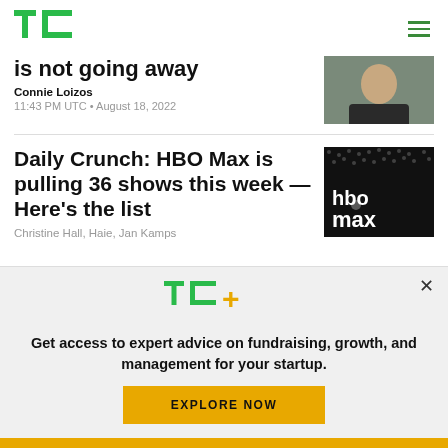[Figure (logo): TechCrunch TC green logo]
is not going away
Connie Loizos
11:43 PM UTC • August 18, 2022
[Figure (photo): Person smiling, dark shirt, outdoors]
Daily Crunch: HBO Max is pulling 36 shows this week — Here's the list
Christine Hall, Haie, Jan Kamps
[Figure (photo): HBO Max logo on dark background with crowd]
[Figure (logo): TC+ logo with green TC and gold plus sign]
Get access to expert advice on fundraising, growth, and management for your startup.
EXPLORE NOW